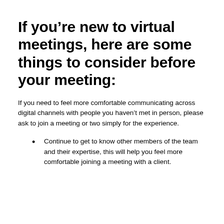If you’re new to virtual meetings, here are some things to consider before your meeting:
If you need to feel more comfortable communicating across digital channels with people you haven’t met in person, please ask to join a meeting or two simply for the experience.
Continue to get to know other members of the team and their expertise, this will help you feel more comfortable joining a meeting with a client.